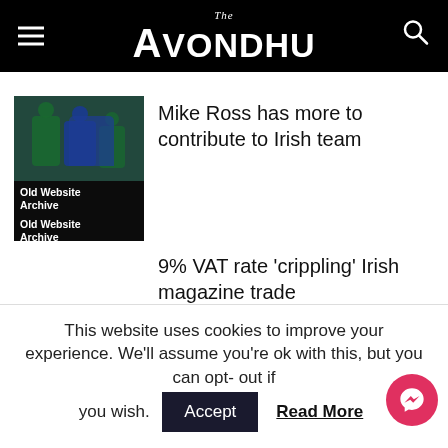The Avondhu
[Figure (photo): Rugby players in action, with two overlay text labels reading 'Old Website Archive']
Mike Ross has more to contribute to Irish team
9% VAT rate ‘crippling’ Irish magazine trade
Local Advert
This website uses cookies to improve your experience. We’ll assume you’re ok with this, but you can opt-out if you wish.